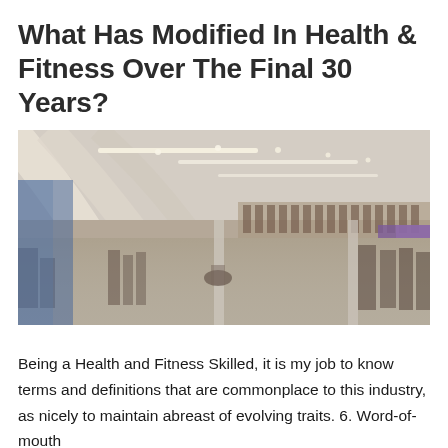What Has Modified In Health & Fitness Over The Final 30 Years?
[Figure (photo): Interior of a large, modern gym with high curved ceilings featuring strip lighting, a second floor mezzanine lined with exercise equipment, and a wide floor area filled with various workout machines and equipment.]
Being a Health and Fitness Skilled, it is my job to know terms and definitions that are commonplace to this industry, as nicely to maintain abreast of evolving traits. 6. Word-of-mouth